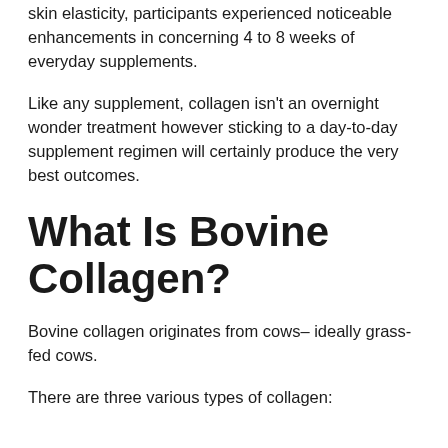skin elasticity, participants experienced noticeable enhancements in concerning 4 to 8 weeks of everyday supplements.
Like any supplement, collagen isn't an overnight wonder treatment however sticking to a day-to-day supplement regimen will certainly produce the very best outcomes.
What Is Bovine Collagen?
Bovine collagen originates from cows– ideally grass-fed cows.
There are three various types of collagen: